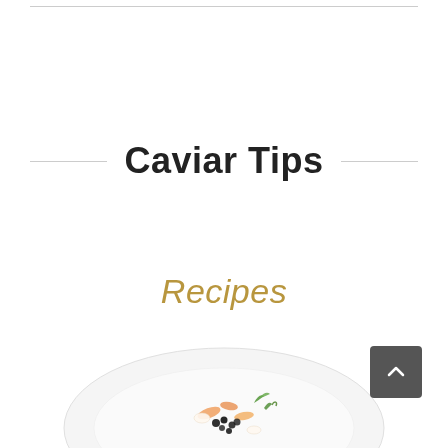Caviar Tips
Recipes
[Figure (photo): A white plate with an elegant food dish featuring caviar and garnishes, viewed from above, partially visible at the bottom of the page.]